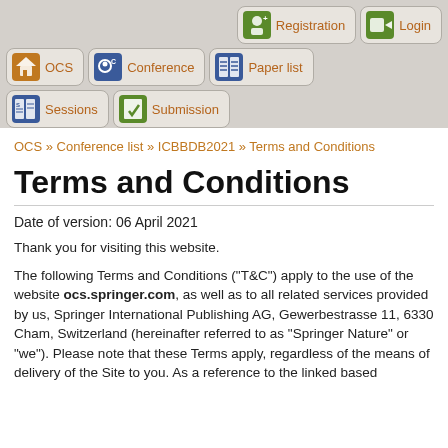[Figure (screenshot): Navigation bar with buttons: Registration, Login, OCS, Conference, Paper list, Sessions, Submission]
OCS » Conference list » ICBBDB2021 » Terms and Conditions
Terms and Conditions
Date of version: 06 April 2021
Thank you for visiting this website.
The following Terms and Conditions ("T&C") apply to the use of the website ocs.springer.com, as well as to all related services provided by us, Springer International Publishing AG, Gewerbestrasse 11, 6330 Cham, Switzerland (hereinafter referred to as "Springer Nature" or "we"). Please note that these Terms apply, regardless of the means of delivery of the Site to you. As a reference to the linked based